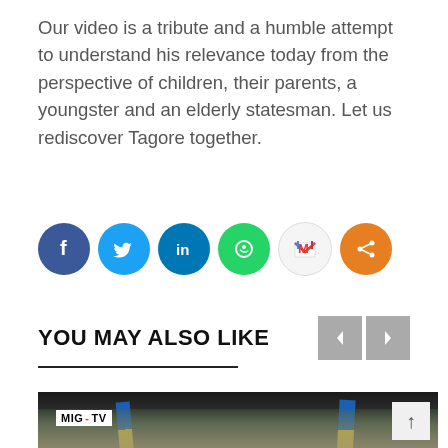Our video is a tribute and a humble attempt to understand his relevance today from the perspective of children, their parents, a youngster and an elderly statesman. Let us rediscover Tagore together.
[Figure (infographic): Social media sharing icons: Facebook (dark blue), Twitter (light blue), LinkedIn (blue), WhatsApp (green), Gmail (red/white), Share (orange)]
YOU MAY ALSO LIKE
[Figure (photo): A large crowd of people at an outdoor event or march, holding blue and yellow Ukrainian flags, with trees lining the street. A MIG-TV watermark is visible in the upper left of the video frame.]